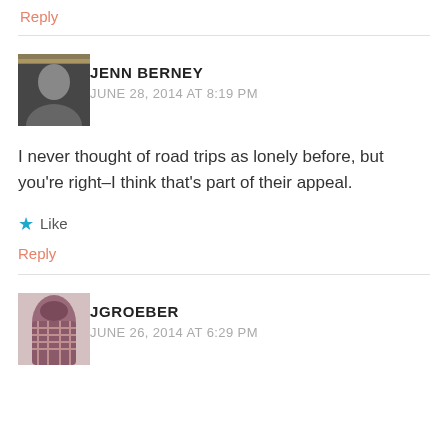Reply
JENN BERNEY
JUNE 28, 2014 AT 8:19 PM
I never thought of road trips as lonely before, but you're right–I think that's part of their appeal.
Like
Reply
JGROEBER
JUNE 26, 2014 AT 6:29 PM